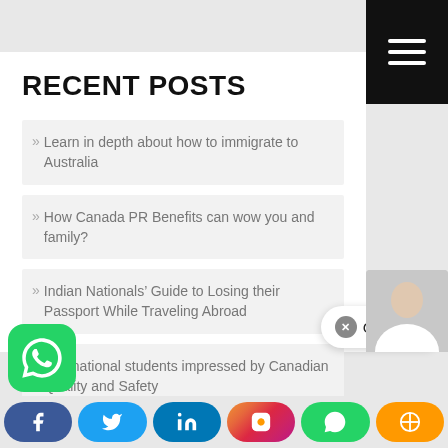RECENT POSTS
» Learn in depth about how to immigrate to Australia
» How Canada PR Benefits can wow you and family?
» Indian Nationals' Guide to Losing their Passport While Traveling Abroad
» International students impressed by Canadian Quality and Safety